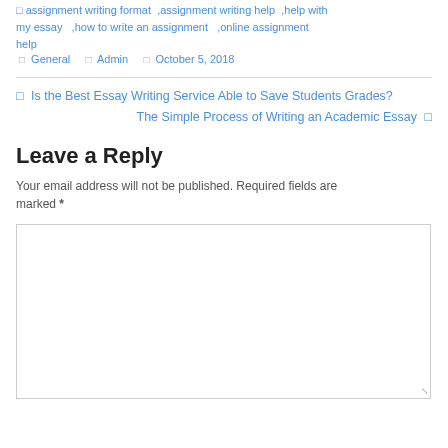assignment writing format ,assignment writing help ,help with my essay ,how to write an assignment ,online assignment help
General · Admin · October 5, 2018
← Is the Best Essay Writing Service Able to Save Students Grades?
The Simple Process of Writing an Academic Essay →
Leave a Reply
Your email address will not be published. Required fields are marked *